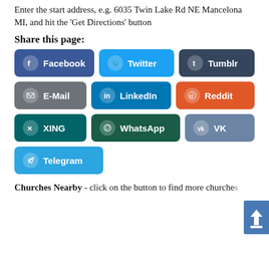Enter the start address, e.g. 6035 Twin Lake Rd NE Mancelona MI, and hit the 'Get Directions' button
Share this page:
[Figure (infographic): Social media share buttons: Facebook, Twitter, Tumblr, E-Mail, LinkedIn, Reddit, XING, WhatsApp, VK, Telegram]
Churches Nearby - click on the button to find more churches nearby. Zoom out the map before clicking the button to find more churches.